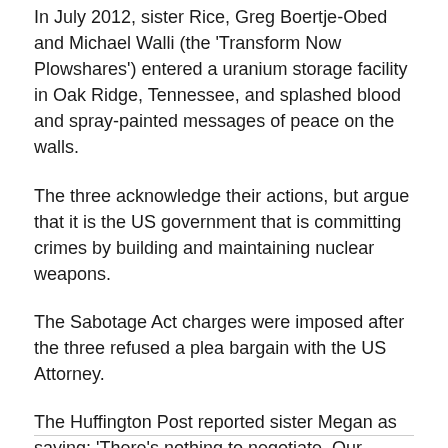In July 2012, sister Rice, Greg Boertje-Obed and Michael Walli (the 'Transform Now Plowshares') entered a uranium storage facility in Oak Ridge, Tennessee, and splashed blood and spray-painted messages of peace on the walls.
The three acknowledge their actions, but argue that it is the US government that is committing crimes by building and maintaining nuclear weapons.
The Sabotage Act charges were imposed after the three refused a plea bargain with the US Attorney.
The Huffington Post reported sister Megan as saying: 'There's nothing to negotiate. Our ultimate purpose is the ending of nuclear weapons.'